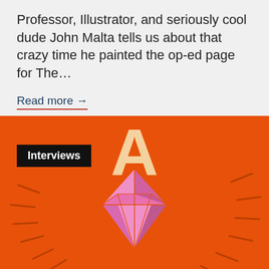Professor, Illustrator, and seriously cool dude John Malta tells us about that crazy time he painted the op-ed page for The…
Read more →
[Figure (illustration): Orange background illustration with a large pink diamond/gem shape in the center with facet lines, radiating dark orange slash marks on both sides, and a large beige/tan letter 'A' at the top center. A black 'Interviews' badge overlays the upper left.]